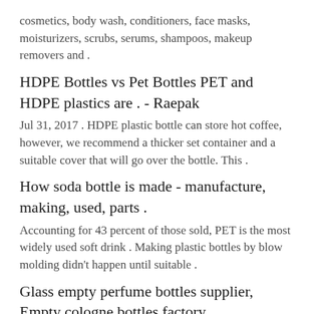cosmetics, body wash, conditioners, face masks, moisturizers, scrubs, serums, shampoos, makeup removers and .
HDPE Bottles vs Pet Bottles PET and HDPE plastics are . - Raepak
Jul 31, 2017 . HDPE plastic bottle can store hot coffee, however, we recommend a thicker set container and a suitable cover that will go over the bottle. This .
How soda bottle is made - manufacture, making, used, parts .
Accounting for 43 percent of those sold, PET is the most widely used soft drink . Making plastic bottles by blow molding didn't happen until suitable .
Glass empty perfume bottles supplier, Empty cologne bottles factory
We are a leading glass perfume bottle manufacturer in